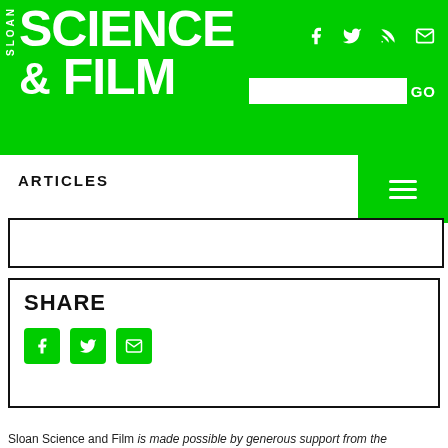SLOAN SCIENCE & FILM
ARTICLES
SHARE
Sloan Science and Film is made possible by generous support from the